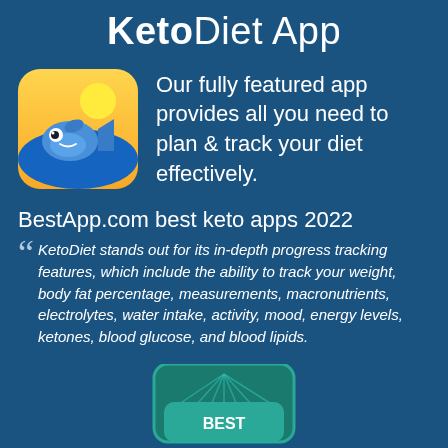KetoDiet App
[Figure (logo): KetoDiet app icon: rounded square with yellow/orange background, blue cartoon fish character]
Our fully featured app provides all you need to plan & track your diet effectively.
BestApp.com best keto apps 2022
KetoDiet stands out for its in-depth progress tracking features, which include the ability to track your weight, body fat percentage, measurements, macronutrients, electrolytes, water intake, activity, mood, energy levels, ketones, blood glucose, and blood lipids.
[Figure (logo): BestApp.com best award badge (teal/green badge partially visible at bottom)]